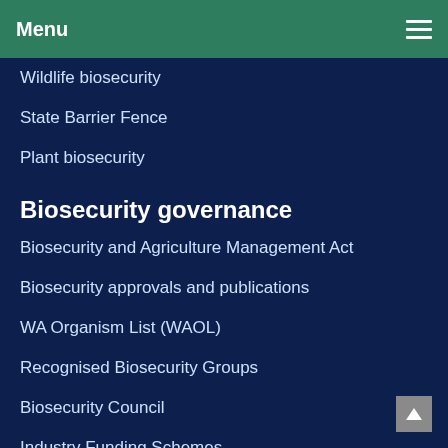Menu
Wildlife biosecurity
State Barrier Fence
Plant biosecurity
Biosecurity governance
Biosecurity and Agriculture Management Act
Biosecurity approvals and publications
WA Organism List (WAOL)
Recognised Biosecurity Groups
Biosecurity Council
Industry Funding Schemes
Biosecurity strategy
Regulatory amendments
Emergency response